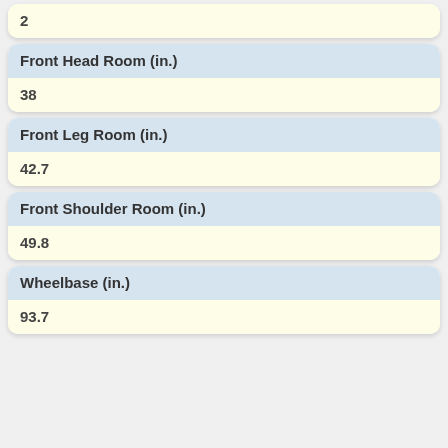2
Front Head Room (in.)
38
Front Leg Room (in.)
42.7
Front Shoulder Room (in.)
49.8
Wheelbase (in.)
93.7